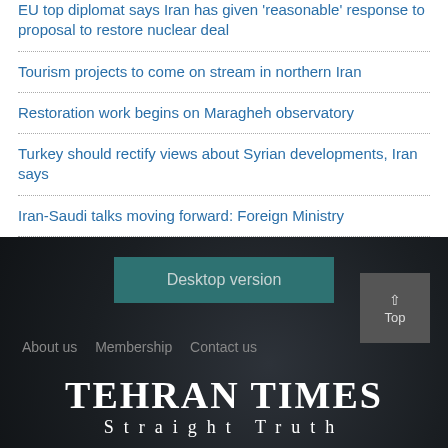EU top diplomat says Iran has given 'reasonable' response to proposal to restore nuclear deal
Tourism projects to come on stream in northern Iran
Restoration work begins on Maragheh observatory
Turkey should rectify views about Syrian developments, Iran says
Iran-Saudi talks moving forward: Foreign Ministry
Desktop version
About us   Membership   Contact us
TEHRAN TIMES Straight Truth